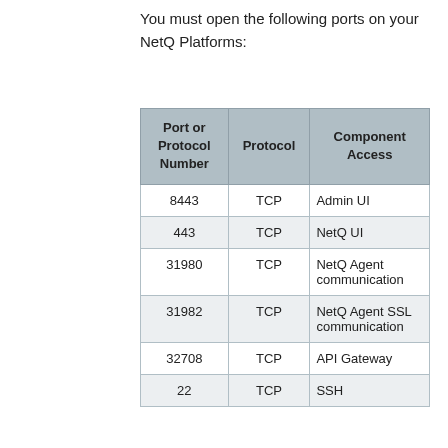You must open the following ports on your NetQ Platforms:
| Port or Protocol Number | Protocol | Component Access |
| --- | --- | --- |
| 8443 | TCP | Admin UI |
| 443 | TCP | NetQ UI |
| 31980 | TCP | NetQ Agent communication |
| 31982 | TCP | NetQ Agent SSL communication |
| 32708 | TCP | API Gateway |
| 22 | TCP | SSH |